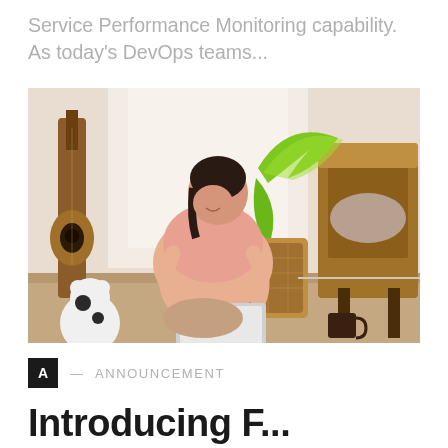Service Performance Monitoring capability. As today's DevOps teams...
[Figure (photo): A young woman sitting cross-legged on the floor using a laptop, with a guitar, wicker basket, tropical leaf decoration, and an armchair visible in a home setting.]
A — ANNOUNCEMENT
Introducing F...